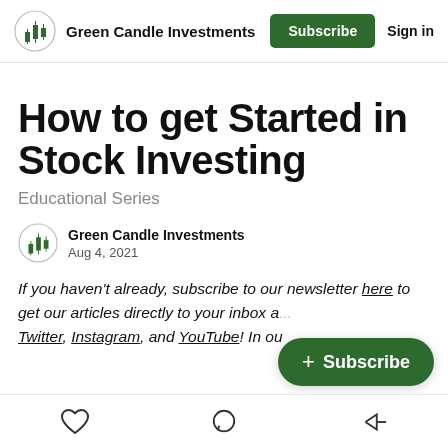Green Candle Investments
How to get Started in Stock Investing
Educational Series
Green Candle Investments
Aug 4, 2021
If you haven't already, subscribe to our newsletter here to get our articles directly to your inbox a... Twitter, Instagram, and YouTube! In ou...